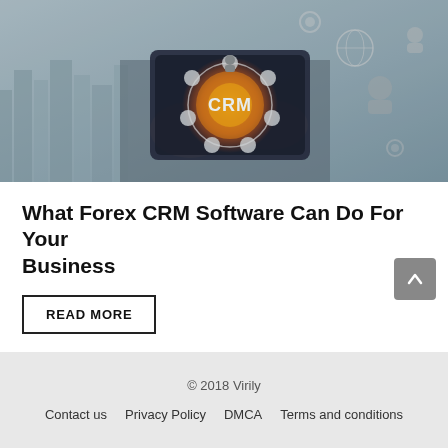[Figure (photo): Person holding a tablet displaying a glowing CRM holographic interface with icons representing business functions, set against a blurred city skyline background in blue-grey tones.]
What Forex CRM Software Can Do For Your Business
READ MORE
© 2018 Virily
Contact us   Privacy Policy   DMCA   Terms and conditions